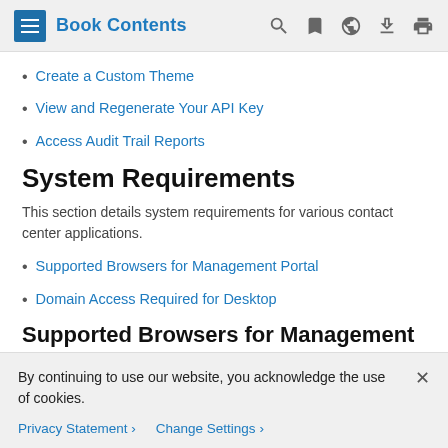Book Contents
Create a Custom Theme
View and Regenerate Your API Key
Access Audit Trail Reports
System Requirements
This section details system requirements for various contact center applications.
Supported Browsers for Management Portal
Domain Access Required for Desktop
Supported Browsers for Management Portal
By continuing to use our website, you acknowledge the use of cookies.
Privacy Statement › Change Settings ›